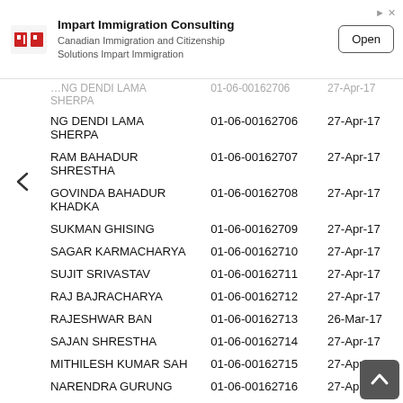[Figure (screenshot): Advertisement banner for Impart Immigration Consulting with logo, text 'Canadian Immigration and Citizenship Solutions Impart Immigration', and Open button]
| NAME | ID | DATE |
| --- | --- | --- |
| …NG DENDI LAMA SHERPA | 01-06-00162706 | 27-Apr-17 |
| RAM BAHADUR SHRESTHA | 01-06-00162707 | 27-Apr-17 |
| GOVINDA BAHADUR KHADKA | 01-06-00162708 | 27-Apr-17 |
| SUKMAN GHISING | 01-06-00162709 | 27-Apr-17 |
| SAGAR KARMACHARYA | 01-06-00162710 | 27-Apr-17 |
| SUJIT SRIVASTAV | 01-06-00162711 | 27-Apr-17 |
| RAJ BAJRACHARYA | 01-06-00162712 | 27-Apr-17 |
| RAJESHWAR BAN | 01-06-00162713 | 26-Mar-17 |
| SAJAN SHRESTHA | 01-06-00162714 | 27-Apr-17 |
| MITHILESH KUMAR SAH | 01-06-00162715 | 27-Apr-17 |
| NARENDRA GURUNG | 01-06-00162716 | 27-Apr-17 |
| LALIT BAHADUR | 01-06-00162717 | 27-Apr-17 |